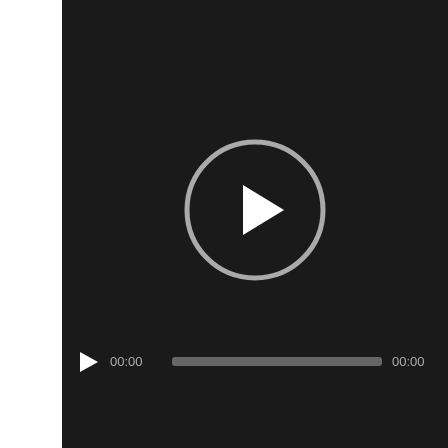[Figure (screenshot): Video player interface with dark background. A circular play button is centered in the upper portion of the video area. At the bottom is a playback control bar with a small play button triangle icon on the left, time display showing 00:00, a grey progress/seek bar, and end time showing 00:00 on the right.]